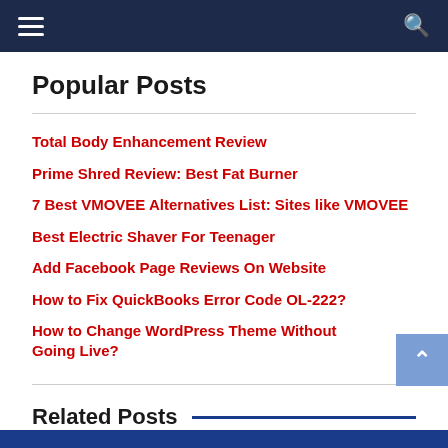Navigation bar with hamburger menu and search icon
Popular Posts
Total Body Enhancement Review
Prime Shred Review: Best Fat Burner
7 Best VMOVEE Alternatives List: Sites like VMOVEE
Best Electric Shaver For Teenager
Add Facebook Page Reviews On Website
How to Fix QuickBooks Error Code OL-222?
How to Change WordPress Theme Without Going Live?
Related Posts